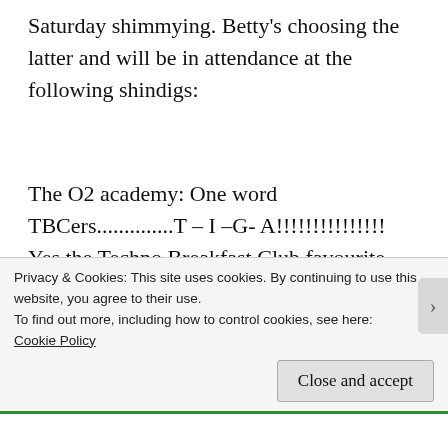Saturday shimmying. Betty's choosing the latter and will be in attendance at the following shindigs:
The O2 academy: One word TBCers..............T – I –G- A!!!!!!!!!!!!!!! Yes the Techno Breakfast Club favourite and all round God of our lives is playing in Sheffield! Granted its at the O2 academy but those of you who came to see Dixon there at the Collect weekender will know that as a venue it can actually work pretty well
Privacy & Cookies: This site uses cookies. By continuing to use this website, you agree to their use.
To find out more, including how to control cookies, see here: Cookie Policy
Close and accept